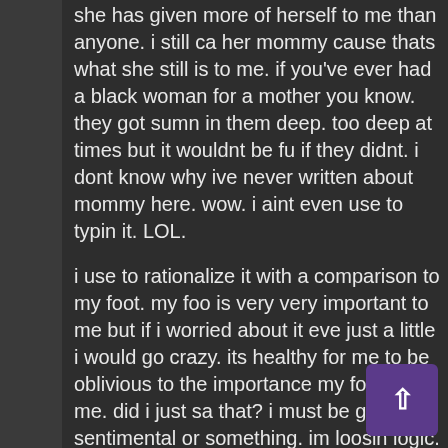she has given more of herself to me than anyone. i still call her mommy cause thats what she still is to me. if you've ever had a black woman for a mother you know. they got sumn in them deep. too deep at times but it wouldnt be fun if they didnt. i dont know why ive never written about mommy here. wow. i aint even use to typin it. LOL.
i use to rationalize it with a comparison to my foot. my foot is very very important to me but if i worried about it even just a little i would go crazy. its healthy for me to be oblivious to the importance my foot is to me. did i just say that? i must be gettin sentimental or something. im loosing logic. thats another thing. if there are too many feelings in the infrastructure of the family it makes it hard to operate and execute. speaking like a team or machine.
i say all that to say that even i, jeffery scott mitch... nothing compared to human emotion. the worst t... human beings are the best parts about being human... if